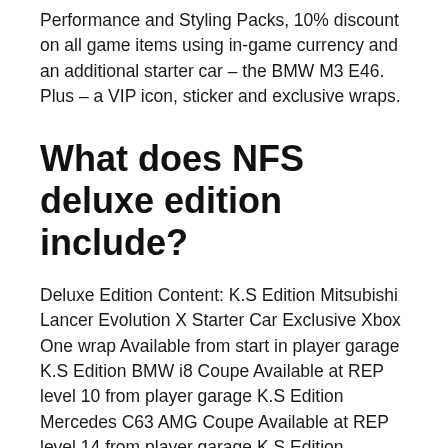Performance and Styling Packs, 10% discount on all game items using in-game currency and an additional starter car – the BMW M3 E46. Plus – a VIP icon, sticker and exclusive wraps.
What does NFS deluxe edition include?
Deluxe Edition Content: K.S Edition Mitsubishi Lancer Evolution X Starter Car Exclusive Xbox One wrap Available from start in player garage K.S Edition BMW i8 Coupe Available at REP level 10 from player garage K.S Edition Mercedes C63 AMG Coupe Available at REP level 14 from player garage K.S Edition Chevrolet Corvette ...